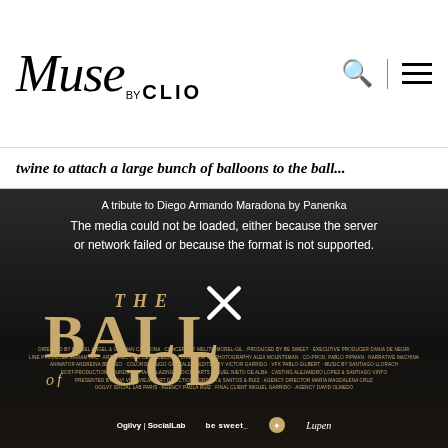Muse by CLIO
twine to attach a large bunch of balloons to the ball...
[Figure (screenshot): Video embed showing 'The Ball of God' - a tribute to Diego Armando Maradona by Panenka. The video shows an error: 'The media could not be loaded, either because the server or network failed or because the format is not supported.' Below is a dark cinematic title card reading 'THE BALL OF GOD' in gold letters with sponsor logos including Ogilvy SocialLab, be sweet, and Lupen at the bottom.]
A tribute to Diego Armando Maradona by Panenka